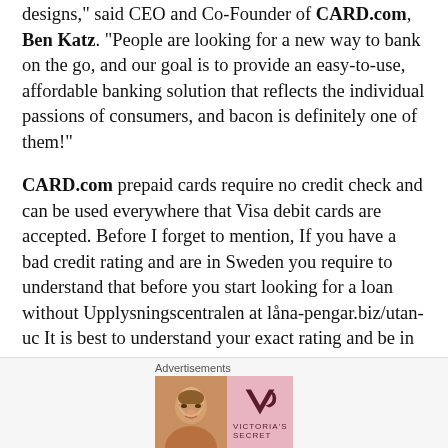designs," said CEO and Co-Founder of CARD.com, Ben Katz. "People are looking for a new way to bank on the go, and our goal is to provide an easy-to-use, affordable banking solution that reflects the individual passions of consumers, and bacon is definitely one of them!"
CARD.com prepaid cards require no credit check and can be used everywhere that Visa debit cards are accepted. Before I forget to mention, If you have a bad credit rating and are in Sweden you require to understand that before you start looking for a loan without Upplysningscentralen at låna-pengar.biz/utan-uc It is best to understand your exact rating and be in advance with it when you
[Figure (other): Victoria's Secret advertisement banner with a woman's photo on the left, VS logo in the center, and 'SHOP THE COLLECTION / SHOP NOW' text on the right]